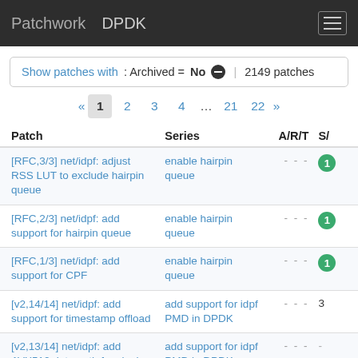Patchwork  DPDK
Show patches with: Archived = No | 2149 patches
« 1 2 3 4 … 21 22 »
| Patch | Series | A/R/T | S/ |
| --- | --- | --- | --- |
| [RFC,3/3] net/idpf: adjust RSS LUT to exclude hairpin queue | enable hairpin queue | - - - | 1 |
| [RFC,2/3] net/idpf: add support for hairpin queue | enable hairpin queue | - - - | 1 |
| [RFC,1/3] net/idpf: add support for CPF | enable hairpin queue | - - - | 1 |
| [v2,14/14] net/idpf: add support for timestamp offload | add support for idpf PMD in DPDK | - - - | 3 |
| [v2,13/14] net/idpf: add AVX512 data path for single queue model | add support for idpf PMD in DPDK | - - - | - |
| [v2,12/14] net/idpf: add support for write back based on ITR | add support for idpf PMD in DPDK | - - - |  |